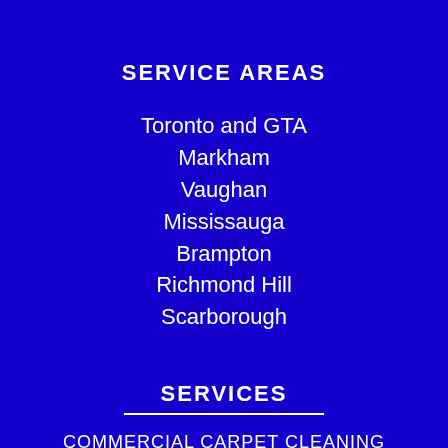SERVICE AREAS
Toronto and GTA
Markham
Vaughan
Mississauga
Brampton
Richmond Hill
Scarborough
SERVICES
COMMERCIAL CARPET CLEANING
ROTARY CARPET CLEANING
STEAM CLEANING